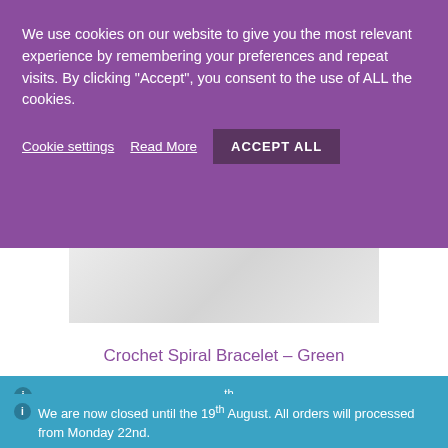We use cookies on our website to give you the most relevant experience by remembering your preferences and repeat visits. By clicking “Accept”, you consent to the use of ALL the cookies.
Cookie settings   Read More   ACCEPT ALL
[Figure (photo): Product image of a crochet spiral bracelet on a light grey background]
Crochet Spiral Bracelet – Green
ⓘ We are now closed until the 19th August. All orders will processed from Monday 22nd. Dismiss